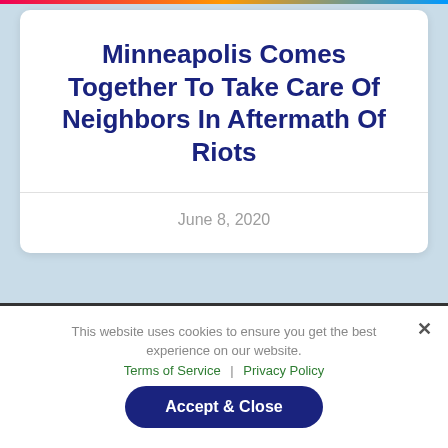Minneapolis Comes Together To Take Care Of Neighbors In Aftermath Of Riots
June 8, 2020
This website uses cookies to ensure you get the best experience on our website. Terms of Service | Privacy Policy
Accept & Close